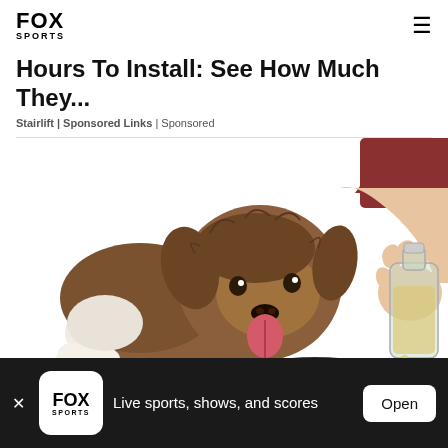FOX SPORTS
Hours To Install: See How Much They...
Stairlift | Sponsored Links | Sponsored
[Figure (illustration): Illustration of a fluffy brown and white dog lying down with tongue out, watching a hand pouring liquid from a glass bottle into a metal bowl.]
Live sports, shows, and scores
Open